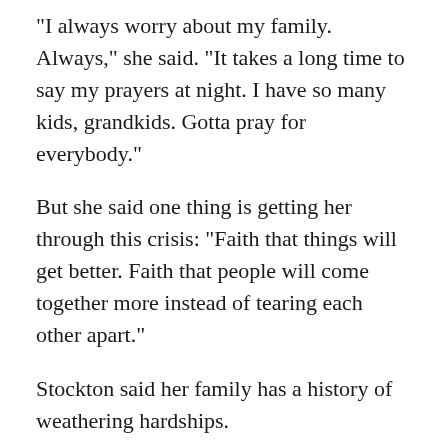"I always worry about my family. Always," she said. "It takes a long time to say my prayers at night. I have so many kids, grandkids. Gotta pray for everybody."
But she said one thing is getting her through this crisis: "Faith that things will get better. Faith that people will come together more instead of tearing each other apart."
Stockton said her family has a history of weathering hardships.
"There's always been something," she said. "And we've come through it."
She told her daughter that the grandmother of Stockton-Rossini's father, who raised him, endured the deaths of eight of her 17 children. At least one of her kids died during the